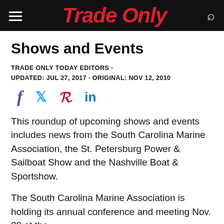Trade Only
Shows and Events
TRADE ONLY TODAY EDITORS ·
UPDATED: JUL 27, 2017 · ORIGINAL: NOV 12, 2010
[Figure (infographic): Social media share icons: Facebook (f), Twitter (bird), Pinterest (P), LinkedIn (in)]
This roundup of upcoming shows and events includes news from the South Carolina Marine Association, the St. Petersburg Power & Sailboat Show and the Nashville Boat & Sportshow.
The South Carolina Marine Association is holding its annual conference and meeting Nov. 30 at the